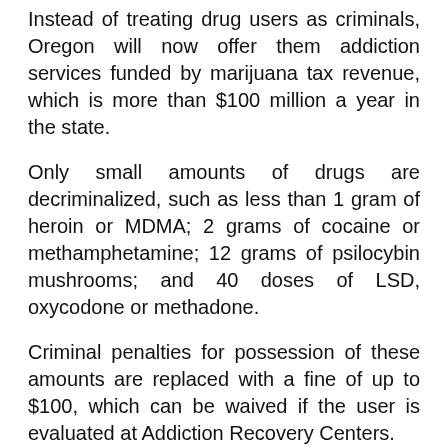Instead of treating drug users as criminals, Oregon will now offer them addiction services funded by marijuana tax revenue, which is more than $100 million a year in the state.
Only small amounts of drugs are decriminalized, such as less than 1 gram of heroin or MDMA; 2 grams of cocaine or methamphetamine; 12 grams of psilocybin mushrooms; and 40 doses of LSD, oxycodone or methadone.
Criminal penalties for possession of these amounts are replaced with a fine of up to $100, which can be waived if the user is evaluated at Addiction Recovery Centers.
Crimes that are associated with drug use, such as manufacturing drugs, selling drugs and driving under the influence, are still criminal offenses.
More than 100 organizations endorsed the measure, including the Oregon Chapter of the American College of Physicians, Oregon Nurses Association, Oregon School Psychologists' Association, Oregon Academy of Family